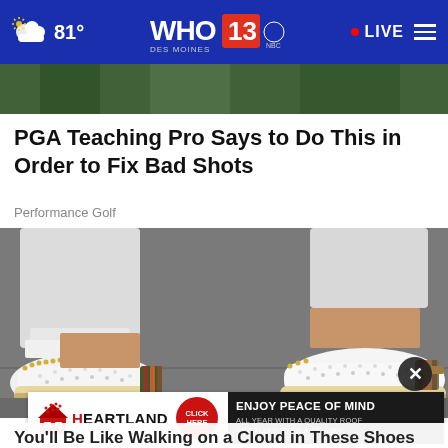81° WHO 13 DES MOINES NBC LIVE
[Figure (photo): Top strip showing green outdoor/golf background image]
PGA Teaching Pro Says to Do This in Order to Fix Bad Shots
Performance Golf
[Figure (photo): Close-up photo of a person wearing white casual sneaker shoes with tan/brown stripe and perforated upper, standing on pavement, wearing white rolled jeans]
[Figure (infographic): Heartland advertisement banner: ENJOY PEACE OF MIND ALL YEAR WITH A QUALITY ROOF INSTALLED BY HEARTLAND!]
You'll Be Like Walking on a Cloud in These Shoes